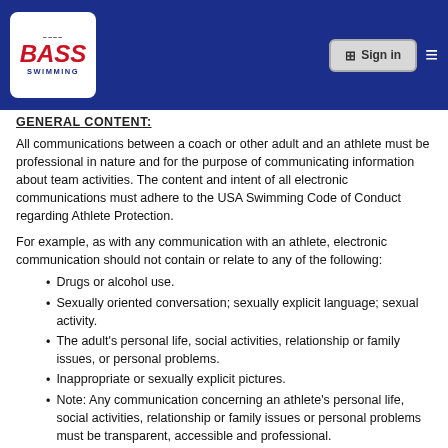BASS Swimming header with logo and Sign in button
GENERAL CONTENT:
All communications between a coach or other adult and an athlete must be professional in nature and for the purpose of communicating information about team activities. The content and intent of all electronic communications must adhere to the USA Swimming Code of Conduct regarding Athlete Protection.
For example, as with any communication with an athlete, electronic communication should not contain or relate to any of the following:
Drugs or alcohol use.
Sexually oriented conversation; sexually explicit language; sexual activity.
The adult's personal life, social activities, relationship or family issues, or personal problems.
Inappropriate or sexually explicit pictures.
Note: Any communication concerning an athlete's personal life, social activities, relationship or family issues or personal problems must be transparent, accessible and professional.